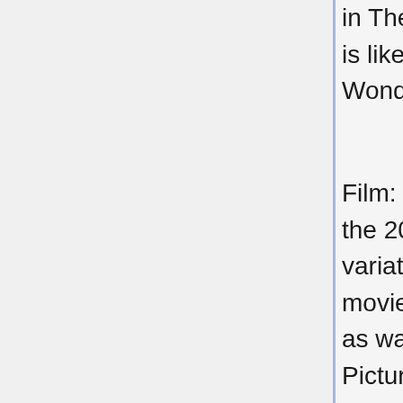in The Avengers: Planet's Mightiest Heroes which is likewise an American animated tv collection by Wonder Computer animation.
Film: This extremely hero character shows up in the 2019 film, Captain Marvel as a re-imagined variation of Mar-Vell. This American superhero movie was generated by Wonder Studios, as well as was distributed by Walt Disney Studios Motion Pictures.
Videogames: This superhero personality came to be the playable one in the multiplayer online video game, Wonder Super Hero Team Online which was released in 2011. This character again shows up in the computer game as an alternative costume for Genis-Vell in the PSP version of Wonder: Ultimate